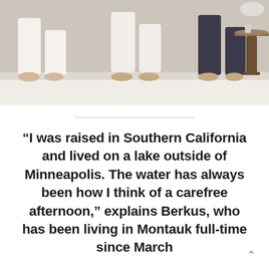[Figure (photo): A photograph showing the lower legs and bare feet of people (adults and a child) sitting on the edge of a white sofa or couch. A wooden side table with a round top is visible on the right. A white rug is on the floor.]
“I was raised in Southern California and lived on a lake outside of Minneapolis. The water has always been how I think of a carefree afternoon,” explains Berkus, who has been living in Montauk full-time since March with Brent and their children